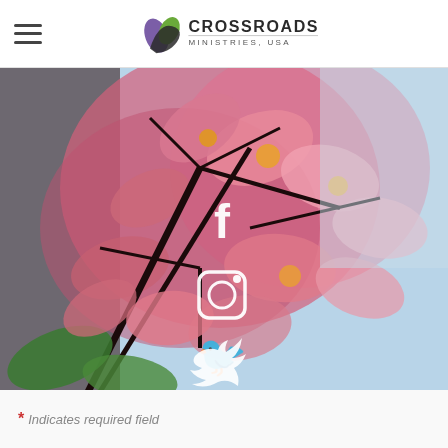Crossroads Ministries, USA
[Figure (photo): Close-up photograph of pink plumeria/frangipani flowers on dark branches against a light blue sky, with white social media icons (Facebook, Instagram, Twitter) overlaid in the center]
* Indicates required field